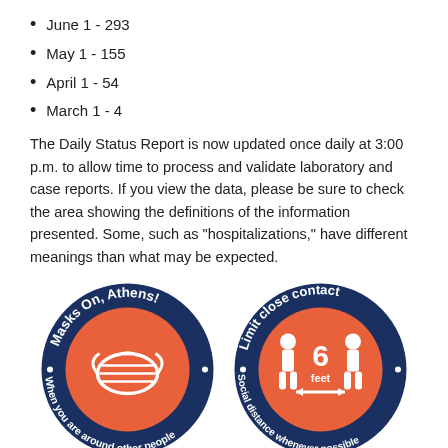June 1 - 293
May 1 - 155
April 1 - 54
March 1 - 4
The Daily Status Report is now updated once daily at 3:00 p.m. to allow time to process and validate laboratory and case reports. If you view the data, please be sure to check the area showing the definitions of the information presented. Some, such as "hospitalizations," have different meanings than what may be expected.
[Figure (illustration): Two circular badge graphics. Left badge: dark navy border with orange center showing a face mask icon. Text along the border reads 'Masks On, Athens!' (top) and 'When you are around other people' (bottom). Right badge: dark navy border with orange center showing two figures with '6 feet' and a double arrow between them. Text along the border reads 'Limit close contact' (top) and 'Social distance whenever possible' (bottom).]